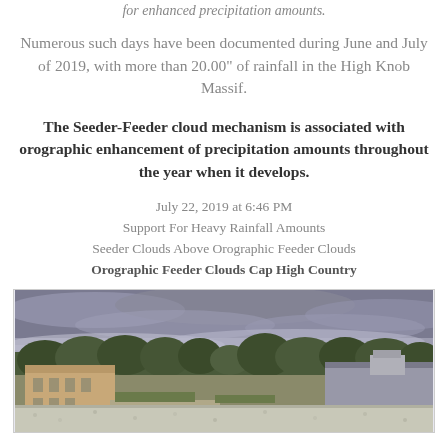for enhanced precipitation amounts.
Numerous such days have been documented during June and July of 2019, with more than 20.00" of rainfall in the High Knob Massif.
The Seeder-Feeder cloud mechanism is associated with orographic enhancement of precipitation amounts throughout the year when it develops.
July 22, 2019 at 6:46 PM
Support For Heavy Rainfall Amounts
Seeder Clouds Above Orographic Feeder Clouds
Orographic Feeder Clouds Cap High Country
[Figure (photo): Photograph taken July 22, 2019 at 6:46 PM showing overcast skies with orographic feeder clouds capping the high country above a campus-like building setting with trees in the background.]